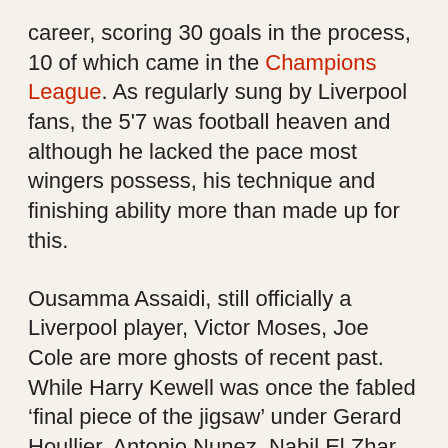career, scoring 30 goals in the process, 10 of which came in the Champions League. As regularly sung by Liverpool fans, the 5'7 was football heaven and although he lacked the pace most wingers possess, his technique and finishing ability more than made up for this.
Ousamma Assaidi, still officially a Liverpool player, Victor Moses, Joe Cole are more ghosts of recent past. While Harry Kewell was once the fabled 'final piece of the jigsaw' under Gerard Houllier. Antonio Nunez, Nabil El Zhar, Albert Riera, the list goes on!
Present